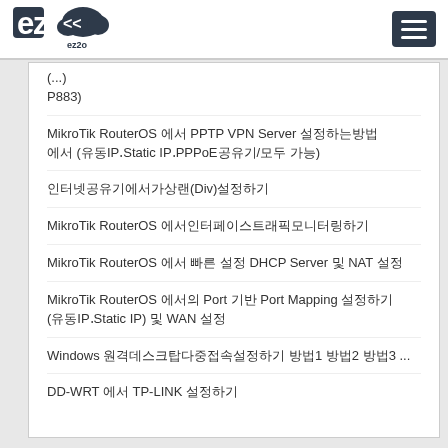ez2o logo and hamburger menu
P883)
MikroTik RouterOS 에서 PPTP VPN Server 설정하는방법 에서 (유동IP、Static IP、PPPoE공유기 모두 가능)
인터넷공유기에서가상랜(Div)설정하기
MikroTik RouterOS 에서인터페이스트래픽모니터링하기
MikroTik RouterOS 에서 빠른 설정 DHCP Server 및 NAT 설정
MikroTik RouterOS 에서의 Port 기반 Port Mapping 설정하기 (유동IP、Static IP) 및 WAN 설정
Windows 원격데스크탑다중접속설정하기 방법1 방법2 방법3 ...
DD-WRT 에서 TP-LINK 설정하기